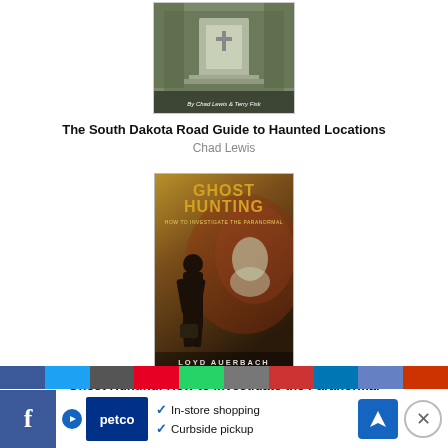[Figure (illustration): Book cover for 'The South Dakota Road Guide to Haunted Locations' by Chad Lewis & Terry Fisk, showing a stone monument or grave marker]
The South Dakota Road Guide to Haunted Locations
Chad Lewis
[Figure (illustration): Book cover for 'Ghost Hunting: How to Investigate the Paranormal' by Loyd Auerbach, showing a dark figure from behind against a dramatic background]
Ghost Hunting: How to Investigate the Paranormal
Loyd Auerbach
[Figure (screenshot): Social media sharing bar with Facebook, Twitter, email, Pinterest, WhatsApp and other share buttons, plus a Petco advertisement showing in-store shopping and curbside pickup options with a close button]